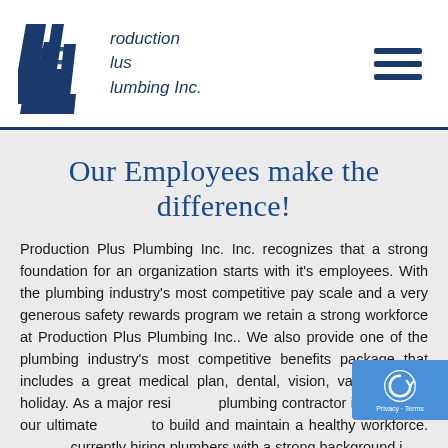Production Plus Plumbing Inc.
Our Employees make the difference!
Production Plus Plumbing Inc. Inc. recognizes that a strong foundation for an organization starts with it's employees. With the plumbing industry's most competitive pay scale and a very generous safety rewards program we retain a strong workforce at Production Plus Plumbing Inc.. We also provide one of the plumbing industry's most competitive benefits package that includes a great medical plan, dental, vision, vacation, and holiday. As a major residential plumbing contractor in California our ultimate goal is to build and maintain a healthy workforce. We are currently hiring plumbers with a strong background in